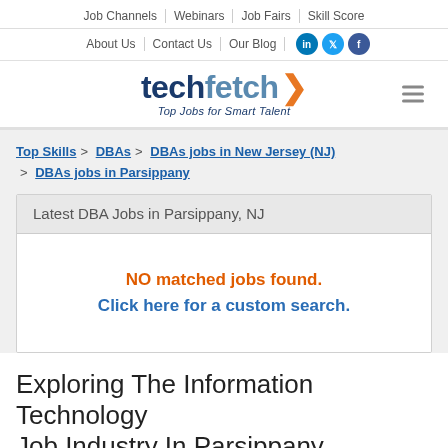Job Channels | Webinars | Job Fairs | Skill Score
About Us | Contact Us | Our Blog
[Figure (logo): Techfetch logo with tagline 'Top Jobs for Smart Talent' and orange chevron arrow]
Top Skills > DBAs > DBAs jobs in New Jersey (NJ) > DBAs jobs in Parsippany
Latest DBA Jobs in Parsippany, NJ
NO matched jobs found.
Click here for a custom search.
Exploring The Information Technology Job Industry In Parsippany